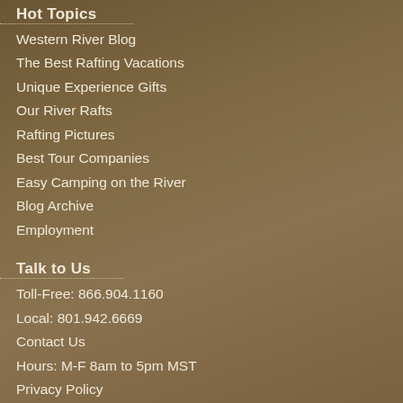Hot Topics
Western River Blog
The Best Rafting Vacations
Unique Experience Gifts
Our River Rafts
Rafting Pictures
Best Tour Companies
Easy Camping on the River
Blog Archive
Employment
Talk to Us
Toll-Free: 866.904.1160
Local: 801.942.6669
Contact Us
Hours: M-F 8am to 5pm MST
Privacy Policy